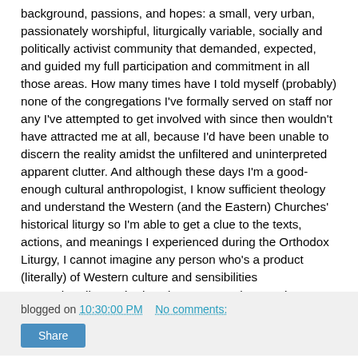background, passions, and hopes: a small, very urban, passionately worshipful, liturgically variable, socially and politically activist community that demanded, expected, and guided my full participation and commitment in all those areas. How many times have I told myself (probably) none of the congregations I've formally served on staff nor any I've attempted to get involved with since then wouldn't have attracted me at all, because I'd have been unable to discern the reality amidst the unfiltered and uninterpreted apparent clutter. And although these days I'm a good-enough cultural anthropologist, I know sufficient theology and understand the Western (and the Eastern) Churches' historical liturgy so I'm able to get a clue to the texts, actions, and meanings I experienced during the Orthodox Liturgy, I cannot imagine any person who's a product (literally) of Western culture and sensibilities comprehending Orthodox Liturgy as much more than an Adventure in Anthropology or in Comparative Christianity.
blogged on 10:30:00 PM   No comments:
Share